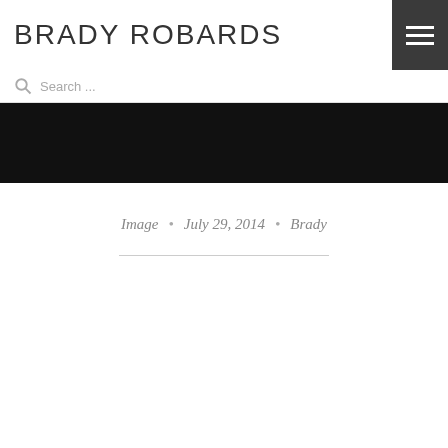BRADY ROBARDS
Search ...
[Figure (other): Black hero banner image area]
Image • July 29, 2014 • Brady